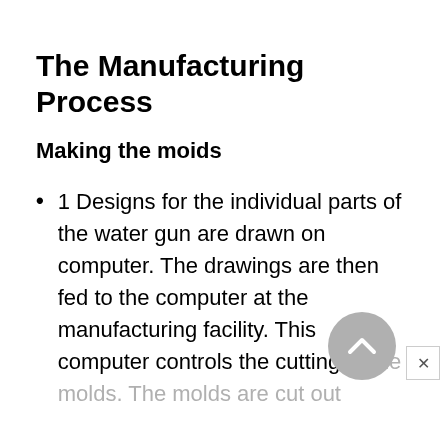The Manufacturing Process
Making the moids
1 Designs for the individual parts of the water gun are drawn on computer. The drawings are then fed to the computer at the manufacturing facility. This computer controls the cutting of the molds. The molds are cut out of steel, following the shape...